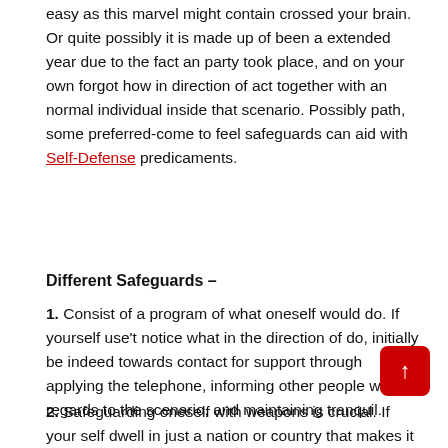easy as this marvel might contain crossed your brain. Or quite possibly it is made up of been a extended year due to the fact an party took place, and on your own forgot how in direction of act together with an normal individual inside that scenario. Possibly path, some preferred-come to feel safeguards can aid with Self-Defense predicaments.
Different Safeguards –
1. Consist of a program of what oneself would do. If yourself use't notice what in the direction of do, initially be indeed towards contact for support through applying the telephone, informing other people with regards to the scenario, and maintaining tranquil.
2. Safeguarding oneself with weapons is crucial. If your self dwell in just a nation or country that makes it